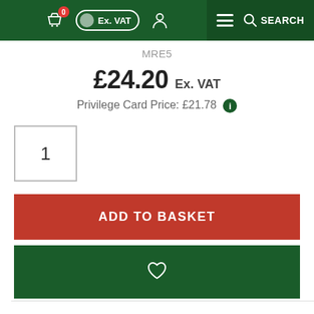[Figure (screenshot): E-commerce website navigation bar with dark green background showing basket icon with badge '0', Ex. VAT toggle pill, person icon, hamburger menu, and search icon]
MRE5
£24.20 Ex. VAT
Privilege Card Price: £21.78 ℹ
1
ADD TO BASKET
[Figure (illustration): Heart/wishlist icon on dark green button]